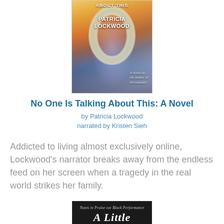[Figure (illustration): Book cover of 'No One Is Talking About This' by Patricia Lockwood, showing an abstract iridescent ring shape against a dramatic sky with clouds and rainbow colors. Text reads 'A Novel by the author of Priestdaddy' in cursive at bottom right.]
No One Is Talking About This: A Novel
by Patricia Lockwood
narrated by Kristen Sieh
Addicted to living almost exclusively online, Lockwood's narrator breaks away from the endless feed on her screen when a tragedy in the real world strikes her family.
[Figure (illustration): Book cover of 'A Little Devil' with subtitle 'Notes in Praise of Black Performance' on a black background, showing large italic script title text.]